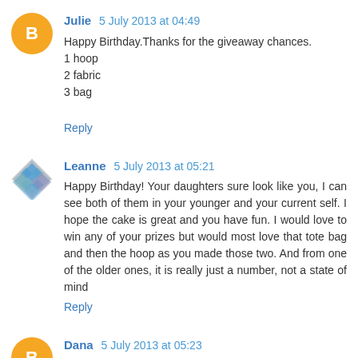Julie 5 July 2013 at 04:49
Happy Birthday.Thanks for the giveaway chances.
1 hoop
2 fabric
3 bag
Reply
Leanne 5 July 2013 at 05:21
Happy Birthday! Your daughters sure look like you, I can see both of them in your younger and your current self. I hope the cake is great and you have fun. I would love to win any of your prizes but would most love that tote bag and then the hoop as you made those two. And from one of the older ones, it is really just a number, not a state of mind
Reply
Dana 5 July 2013 at 05:23